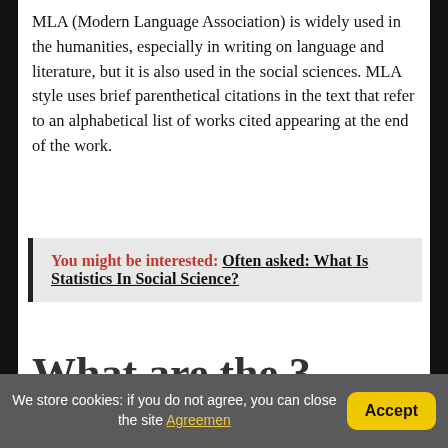MLA (Modern Language Association) is widely used in the humanities, especially in writing on language and literature, but it is also used in the social sciences. MLA style uses brief parenthetical citations in the text that refer to an alphabetical list of works cited appearing at the end of the work.
You might be interested: Often asked: What Is Statistics In Social Science?
What are the 3 citation styles?
We store cookies: if you do not agree, you can close the site Agreemen